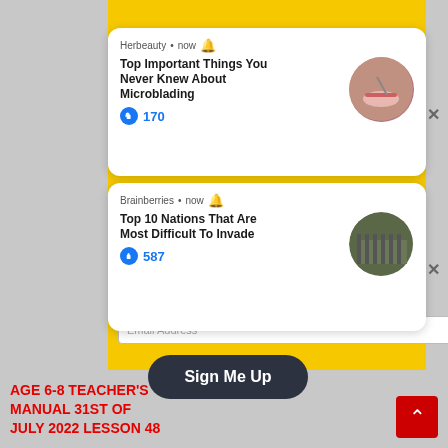[Figure (screenshot): Facebook push notification from 'Herbeauty' with title 'Top Important Things You Never Knew About Microblading', 170 likes, circular image of microblading procedure]
[Figure (screenshot): Facebook push notification from 'Brainberries' with title 'Top 10 Nations That Are Most Difficult To Invade', 587 likes, circular image of military parade]
Email Address
Sign Me Up
AGE 6-8 TEACHER'S MANUAL 31ST OF JULY 2022 LESSON 48